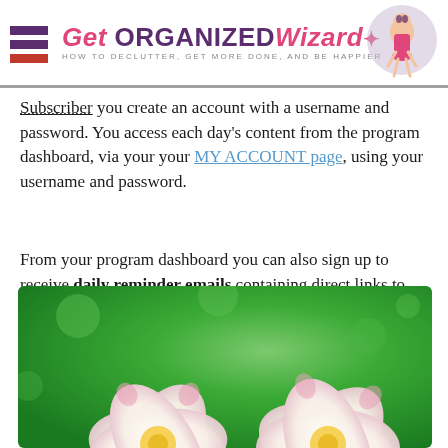Get Organized Wizard — HOW TO DECLUTTER, GET MORE DONE, AND BE HAPPIER
Subscriber you create an account with a username and password. You access each day's content from the program dashboard, via your your MY ACCOUNT page, using your username and password.
From your program dashboard you can also sign up to receive daily reminder emails containing direct links to the day's content. You're busy enough – so this is a great way to make sure you remember to get your content each day.
[Figure (photo): Two white plumeria (frangipani) flowers with pink-tipped petals and yellow centers on a green bokeh background]